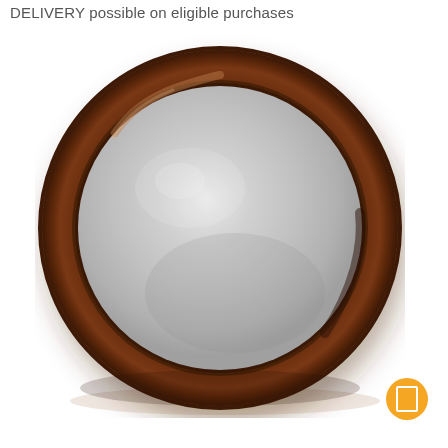DELIVERY possible on eligible purchases
[Figure (photo): A round wall mirror with a wide dark walnut/brown wood frame, displayed against a white background. The mirror has a circular shape with a thick beveled wooden rim showing wood grain texture in dark brown tones.]
[Figure (other): Small yellow/orange circular button with a white rectangle icon, positioned at bottom right of the product image.]